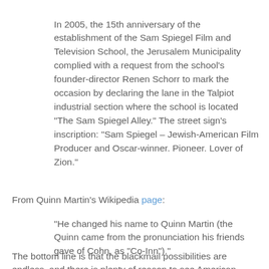In 2005, the 15th anniversary of the establishment of the Sam Spiegel Film and Television School, the Jerusalem Municipality complied with a request from the school's founder-director Renen Schorr to mark the occasion by declaring the lane in the Talpiot industrial section where the school is located "The Sam Spiegel Alley." The street sign's inscription: "Sam Spiegel – Jewish-American Film Producer and Oscar-winner. Pioneer. Lover of Zion."
From Quinn Martin's Wikipedia page:
"He changed his name to Quinn Martin (the Quinn came from the pronunciation his friends gave of Cohn, as "Co-Inn")."
The bottom line is that the blackmail possibilities are endless, and there is plenty of reason to see American political attitudes towards Zionism resting as much on blackmail as shekel bribery (making the Weinstein